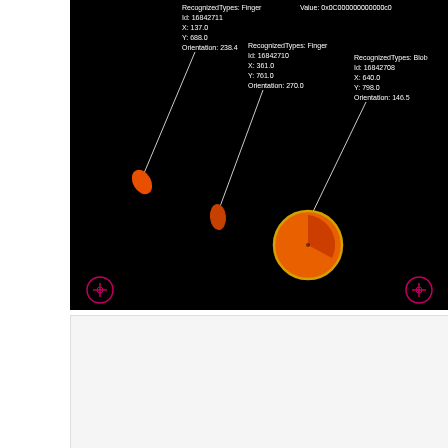[Figure (screenshot): Touch input visualization on a black canvas showing three touch points: two Finger inputs (Id 16842711 at X:137 Y:688 Orientation:238.4, and Id 16842710 at X:361 Y:761 Orientation:270.0) and one Blob input (Id 16842708 at X:640 Y:798 Orientation:146.5). Also shows Value: 0x0C00000000000c0. Each touch point is represented by an orange shape with a line indicator and annotated with type/id/coordinates/orientation. Navigation circles appear in bottom corners.]
[Figure (screenshot): White/light gray empty panel below the main touch visualization, appears to be a secondary panel or code area that is blank.]